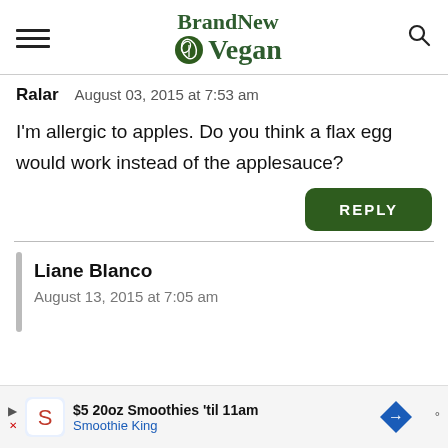BrandNew Vegan
Ralar   August 03, 2015 at 7:53 am
I'm allergic to apples. Do you think a flax egg would work instead of the applesauce?
REPLY
Liane Blanco
August 13, 2015 at 7:05 am
$5 20oz Smoothies 'til 11am  Smoothie King